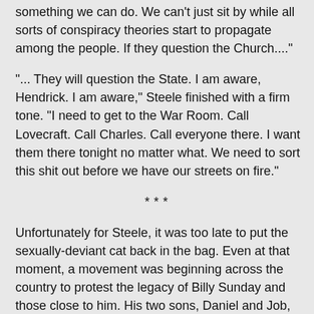something we can do. We can't just sit by while all sorts of conspiracy theories start to propagate among the people. If they question the Church...."
"... They will question the State. I am aware, Hendrick. I am aware," Steele finished with a firm tone. "I need to get to the War Room. Call Lovecraft. Call Charles. Call everyone there. I want them there tonight no matter what. We need to sort this shit out before we have our streets on fire."
***
Unfortunately for Steele, it was too late to put the sexually-deviant cat back in the bag. Even at that moment, a movement was beginning across the country to protest the legacy of Billy Sunday and those close to him. His two sons, Daniel and Job, high-ranking MDP members in Shicagwa who occupied their late father's estate, found themselves staring down angry crowds outside their shared mansion. Signs that read, "False Chosen!"